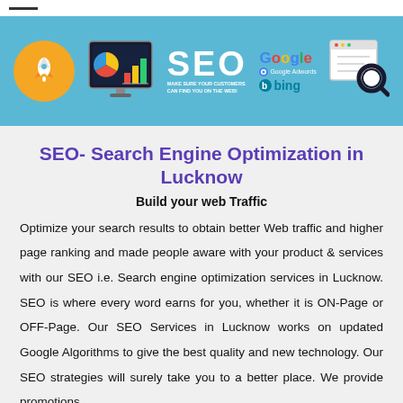[Figure (infographic): SEO banner with a teal/blue background featuring a rocket icon on orange circle, a monitor with bar chart and pie chart, large white 'SEO' text with tagline 'MAKE SURE YOUR CUSTOMERS CAN FIND YOU ON THE WEB!', Google logo with Google Adwords and Bing logos, and a magnifying glass over a browser/checklist icon.]
SEO- Search Engine Optimization in Lucknow
Build your web Traffic
Optimize your search results to obtain better Web traffic and higher page ranking and made people aware with your product & services with our SEO i.e. Search engine optimization services in Lucknow. SEO is where every word earns for you, whether it is ON-Page or OFF-Page. Our SEO Services in Lucknow works on updated Google Algorithms to give the best quality and new technology. Our SEO strategies will surely take you to a better place. We provide promotions